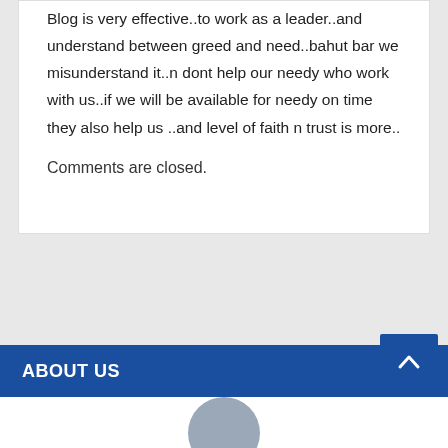Blog is very effective..to work as a leader..and understand between greed and need..bahut bar we misunderstand it..n dont help our needy who work with us..if we will be available for needy on time they also help us ..and level of faith n trust is more..
Comments are closed.
ABOUT US